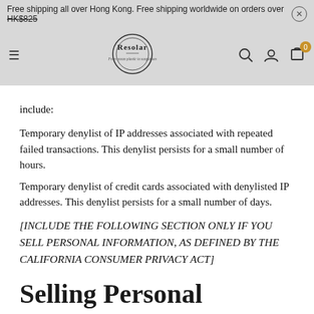Free shipping all over Hong Kong. Free shipping worldwide on orders over [amount]
Resolar — From ocean plastic to sunglasses
include:
Temporary denylist of IP addresses associated with repeated failed transactions. This denylist persists for a small number of hours.
Temporary denylist of credit cards associated with denylisted IP addresses. This denylist persists for a small number of days.
[INCLUDE THE FOLLOWING SECTION ONLY IF YOU SELL PERSONAL INFORMATION, AS DEFINED BY THE CALIFORNIA CONSUMER PRIVACY ACT]
Selling Personal Information